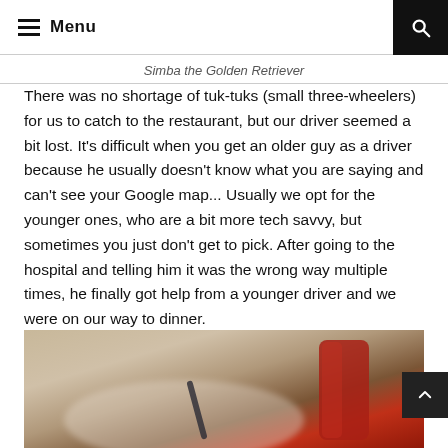Menu
Simba the Golden Retriever
There was no shortage of tuk-tuks (small three-wheelers) for us to catch to the restaurant, but our driver seemed a bit lost. It's difficult when you get an older guy as a driver because he usually doesn't know what you are saying and can't see your Google map... Usually we opt for the younger ones, who are a bit more tech savvy, but sometimes you just don't get to pick. After going to the hospital and telling him it was the wrong way multiple times, he finally got help from a younger driver and we were on our way to dinner.
[Figure (photo): Photo of a dining scene, blurred/cropped, showing what appears to be tableware and red drink.]